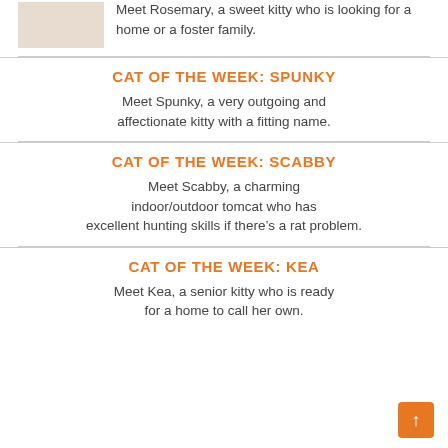[Figure (photo): Photo of a cat (Rosemary)]
Meet Rosemary, a sweet kitty who is looking for a home or a foster family.
CAT OF THE WEEK: SPUNKY
Meet Spunky, a very outgoing and affectionate kitty with a fitting name.
CAT OF THE WEEK: SCABBY
Meet Scabby, a charming indoor/outdoor tomcat who has excellent hunting skills if there’s a rat problem.
CAT OF THE WEEK: KEA
Meet Kea, a senior kitty who is ready for a home to call her own.